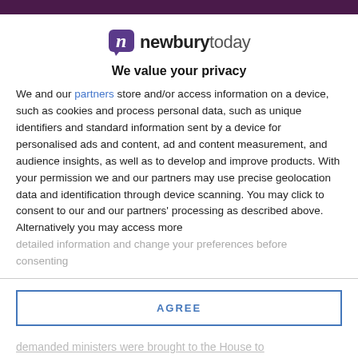[Figure (logo): newburytoday logo with stylized 'n' icon in a speech bubble and the text 'newburytoday']
We value your privacy
We and our partners store and/or access information on a device, such as cookies and process personal data, such as unique identifiers and standard information sent by a device for personalised ads and content, ad and content measurement, and audience insights, as well as to develop and improve products. With your permission we and our partners may use precise geolocation data and identification through device scanning. You may click to consent to our and our partners' processing as described above. Alternatively you may access more detailed information and change your preferences before consenting
AGREE
MORE OPTIONS
demanded ministers were brought to the House to